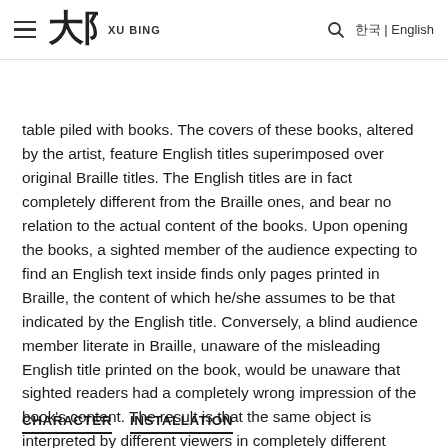XU BING — [navigation header with hamburger menu, logo, search, language toggle]
table piled with books. The covers of these books, altered by the artist, feature English titles superimposed over original Braille titles. The English titles are in fact completely different from the Braille ones, and bear no relation to the actual content of the books. Upon opening the books, a sighted member of the audience expecting to find an English text inside finds only pages printed in Braille, the content of which he/she assumes to be that indicated by the English title. Conversely, a blind audience member literate in Braille, unaware of the misleading English title printed on the book, would be unaware that sighted readers had a completely wrong impression of the book's content. The result is that the same object is interpreted by different viewers in completely different ways. Only those both in full capacity of their vision and educated in Braille would be able to comprehend the deception. In this way Brailleliterate evokes issues of cultural bias, misinterpretation and concealment.
CHARACTER    INSTALLATION